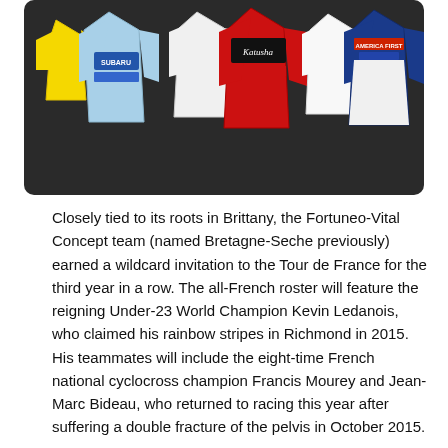[Figure (photo): A row of cycling jerseys displayed against a dark background. From left to right: a yellow jersey, a light blue Subaru-branded jersey, a white jersey, a red and black jersey with script lettering, a white jersey, a blue and white TelePulse/AmericaFirst jersey. The jerseys represent various professional cycling teams.]
Closely tied to its roots in Brittany, the Fortuneo-Vital Concept team (named Bretagne-Seche previously) earned a wildcard invitation to the Tour de France for the third year in a row. The all-French roster will feature the reigning Under-23 World Champion Kevin Ledanois, who claimed his rainbow stripes in Richmond in 2015. His teammates will include the eight-time French national cyclocross champion Francis Mourey and Jean-Marc Bideau, who returned to racing this year after suffering a double fracture of the pelvis in October 2015.
Other Pro Continental teams racing in Utah are Nippo-Vini Fantini, ONE Pro Cycling, Team Novo Nordisk and UnitedHealthcare Pro Cycling Team. The Nippo-Vini Fantini team will be joining us on a race for the very second time.